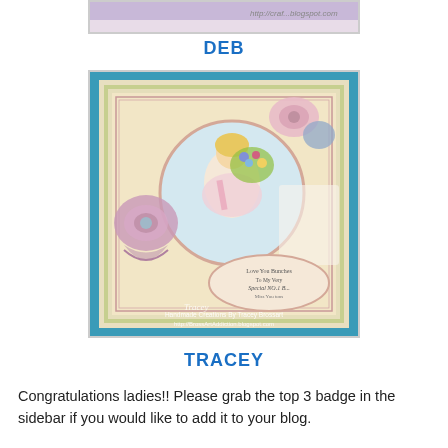[Figure (photo): Partial view of Deb's handmade card photo at top of page, cut off]
DEB
[Figure (photo): Tracey Brossart's handmade card featuring a girl holding flowers, decorated with pink fabric flowers, lace, layered patterned papers in teal frame. Watermark: Handmade Creations By Tracey Brossart, http://BrossArtAddiction.blogspot.com]
TRACEY
Congratulations ladies!! Please grab the top 3 badge in the sidebar if you would like to add it to your blog.